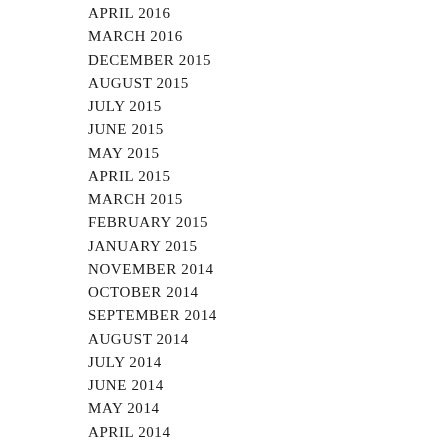APRIL 2016
MARCH 2016
DECEMBER 2015
AUGUST 2015
JULY 2015
JUNE 2015
MAY 2015
APRIL 2015
MARCH 2015
FEBRUARY 2015
JANUARY 2015
NOVEMBER 2014
OCTOBER 2014
SEPTEMBER 2014
AUGUST 2014
JULY 2014
JUNE 2014
MAY 2014
APRIL 2014